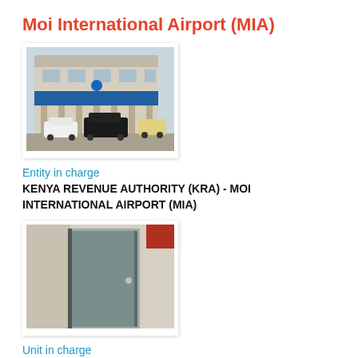Moi International Airport (MIA)
[Figure (photo): Exterior photo of a multi-story commercial/government building with a blue awning, cars parked in front including a white car and a black SUV.]
Entity in charge
KENYA REVENUE AUTHORITY (KRA) - MOI INTERNATIONAL AIRPORT (MIA)
[Figure (photo): Interior photo showing a grey door slightly ajar in what appears to be an office corridor.]
Unit in charge
OFFICE OF THE STATION MANAGER (MIA)